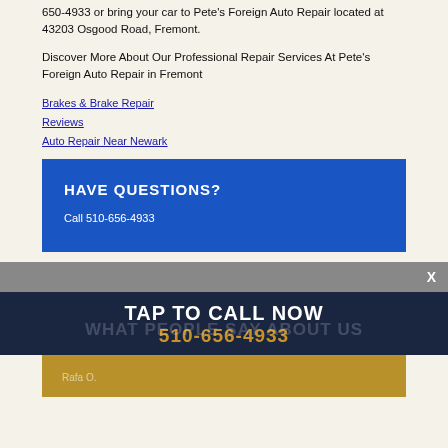650-4933 or bring your car to Pete's Foreign Auto Repair located at 43203 Osgood Road, Fremont.
Discover More About Our Professional Repair Services At Pete's Foreign Auto Repair in Fremont
Brakes & Brake Repair
Reviews
Auto Repair Near Newark
HAVE QUESTIONS?
Call 510-656-4933
X
TAP TO CALL NOW
WHAT PEOPLE SAY ABOUT US
510-656-4933
Rafa O.